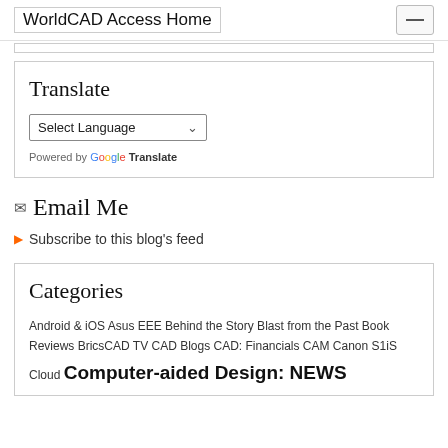WorldCAD Access Home
Translate
Select Language
Powered by Google Translate
Email Me
Subscribe to this blog's feed
Categories
Android & iOS Asus EEE Behind the Story Blast from the Past Book Reviews BricsCAD TV CAD Blogs CAD: Financials CAM Canon S1iS Cloud Computer-aided Design: NEWS